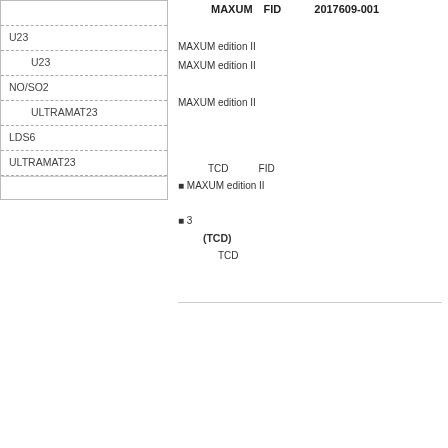U23検出器
熱伝導U23検出器
NO/SO2検出器
熱伝ULTRAMAT23検出
LDS6検出器
ULTRAMAT23検出器
付録
検出器のMAXUM FID検出器 2017609-001
概要
MAXUM edition II の検出器の概要と設定方法について説明します
MAXUM edition IIの検出器の設定と操作について説明します
MAXUM edition II の検出器の設定と操作に関する詳細情報を提供します
検出器の設定と操作に関する情報を提供します
注記
検出器のTCD検出器とFIDの検出器の設定と操作について説明します
• MAXUM edition II の検出器の設定と操作に関する詳細情報
検出器の設定と操作に関する情報
• 3 検出器の設定と操作に関する詳細情報を提供します
熱伝導 (TCD) 検出器の設定と操作
熱伝導検出器のTCD の設定と操作に関する詳細情報を提供します
検出器の設定と操作に関する詳細情報を提供します検出器の設定と操作に関する詳細情報を提供します
検出器の設定と操作に関する詳細情報を提供します
検出器の設定と操作　　　付録